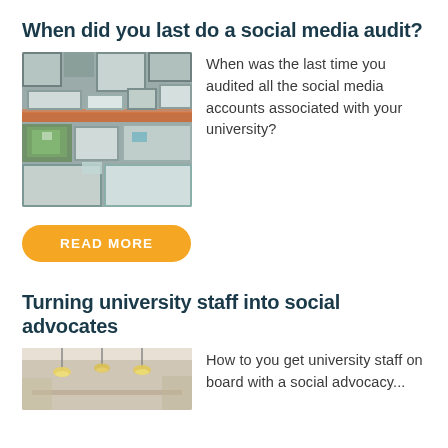When did you last do a social media audit?
[Figure (photo): Aerial view of a university campus with buildings, roads, and green areas]
When was the last time you audited all the social media accounts associated with your university?
READ MORE
Turning university staff into social advocates
[Figure (photo): Interior photo of a modern room with pendant lights]
How to you get university staff on board with a social advocacy...